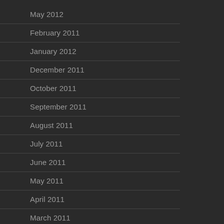May 2012
February 2011
January 2012
December 2011
October 2011
September 2011
August 2011
July 2011
June 2011
May 2011
April 2011
March 2011
January 2011